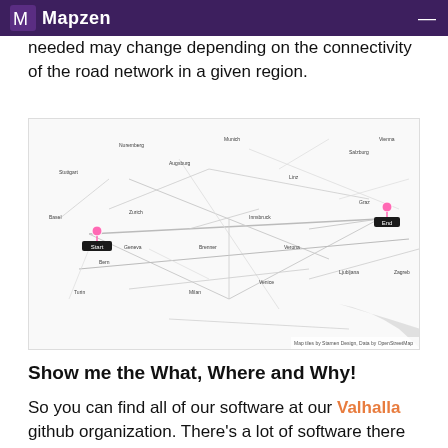Mapzen
needed may change depending on the connectivity of the road network in a given region.
[Figure (map): Road network map showing a route from Start (western location, marked with pink pin) to End (eastern location, marked with black pin) across a European region. Map includes numerous city and town labels, road networks, and a shaded area in the lower right. Attribution: Map tiles by Stamen Design, Data by OpenStreetMap.]
Show me the What, Where and Why!
So you can find all of our software at our Valhalla github organization. There's a lot of software there but most of it is used to route with a little bit of surface area